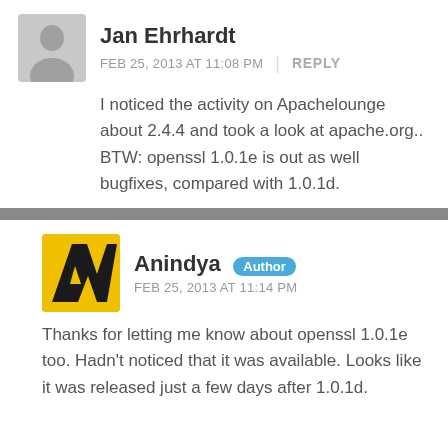Jan Ehrhardt
FEB 25, 2013 AT 11:08 PM | REPLY
I noticed the activity on Apachelounge about 2.4.4 and took a look at apache.org.. BTW: openssl 1.0.1e is out as well bugfixes, compared with 1.0.1d.
Anindya Author
FEB 25, 2013 AT 11:14 PM
Thanks for letting me know about openssl 1.0.1e too. Hadn't noticed that it was available. Looks like it was released just a few days after 1.0.1d.